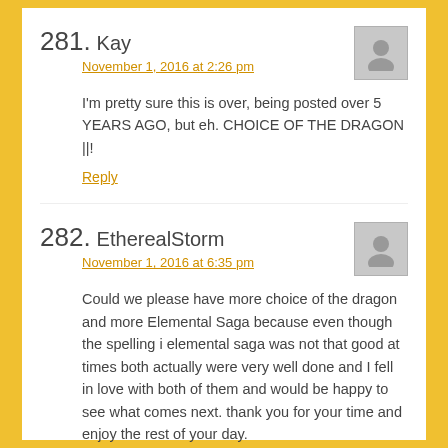281. Kay
November 1, 2016 at 2:26 pm
I'm pretty sure this is over, being posted over 5 YEARS AGO, but eh. CHOICE OF THE DRAGON ||!
Reply
282. EtherealStorm
November 1, 2016 at 6:35 pm
Could we please have more choice of the dragon and more Elemental Saga because even though the spelling i elemental saga was not that good at times both actually were very well done and I fell in love with both of them and would be happy to see what comes next. thank you for your time and enjoy the rest of your day.
Reply